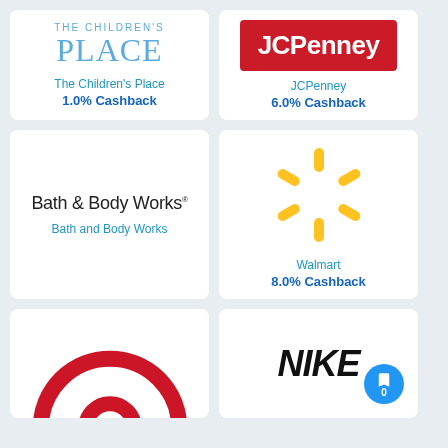[Figure (logo): The Children's Place logo - blue text with THE CHILDREN'S on top and PLACE large below]
The Children's Place
1.0% Cashback
[Figure (logo): JCPenney logo - white text on red rectangle background]
JCPenney
6.0% Cashback
[Figure (logo): Bath & Body Works logo - black text]
Bath and Body Works
[Figure (logo): Walmart spark logo - yellow radiating shapes on white]
Walmart
8.0% Cashback
[Figure (logo): Target logo - partial red bullseye rings visible at bottom]
[Figure (logo): Nike logo - italic black NIKE text]